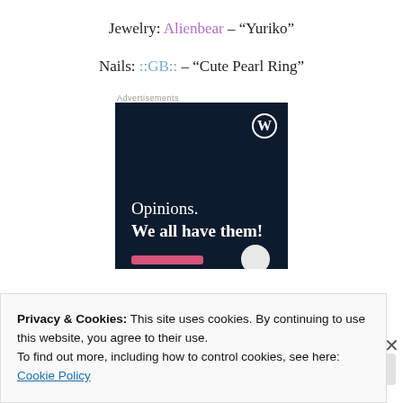Jewelry: Alienbear – “Yuriko”
Nails: ::GB:: – “Cute Pearl Ring”
Advertisements
[Figure (screenshot): WordPress advertisement banner with dark navy background. Shows WordPress logo (W in circle) top right. Text reads: 'Opinions. We all have them!' with a pink button and grey circle at bottom.]
Privacy & Cookies: This site uses cookies. By continuing to use this website, you agree to their use.
To find out more, including how to control cookies, see here: Cookie Policy
Close and accept